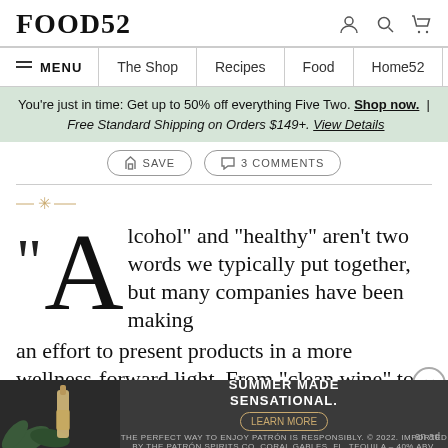FOOD52
MENU | The Shop | Recipes | Food | Home52
You're just in time: Get up to 50% off everything Five Two. Shop now. | Free Standard Shipping on Orders $149+. View Details
SAVE   3 COMMENTS
"Alcohol" and "healthy" aren't two words we typically put together, but many companies have been making an effort to present products in a more wellness-forward light. From "clean wine" to hard kombucha and low-ABV cocktails, "better-for-you alcohol" has
[Figure (screenshot): Patron tequila advertisement: SUMMER MADE SENSATIONAL. Learn More button.]